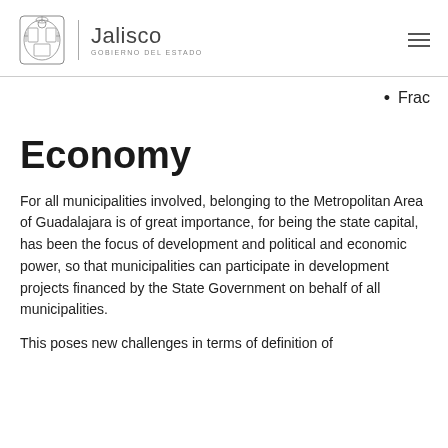Jalisco | GOBIERNO DEL ESTADO
Frac…
Economy
For all municipalities involved, belonging to the Metropolitan Area of Guadalajara is of great importance, for being the state capital, has been the focus of development and political and economic power, so that municipalities can participate in development projects financed by the State Government on behalf of all municipalities.
This poses new challenges in terms of definition of